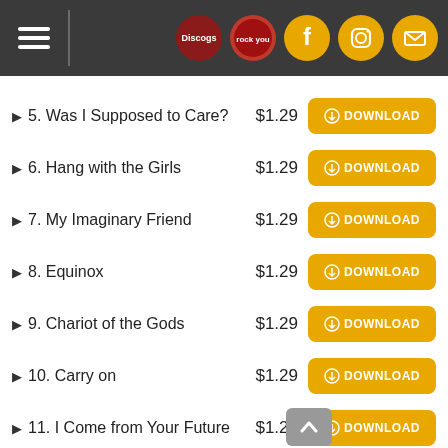Navigation header with hamburger menu and social icons (Discogs, Facebook, Instagram, Email)
5. Was I Supposed to Care? — $1.29 — DOWNLOAD
6. Hang with the Girls — $1.29 — DOWNLOAD
7. My Imaginary Friend — $1.29 — DOWNLOAD
8. Equinox — $1.29 — DOWNLOAD
9. Chariot of the Gods — $1.29 — DOWNLOAD
10. Carry on — $1.29 — DOWNLOAD
11. I Come from Your Future — $1.29 — DOWNLOAD
12. Don't Try to Save My Soul — $1.29 — DOWNLOAD